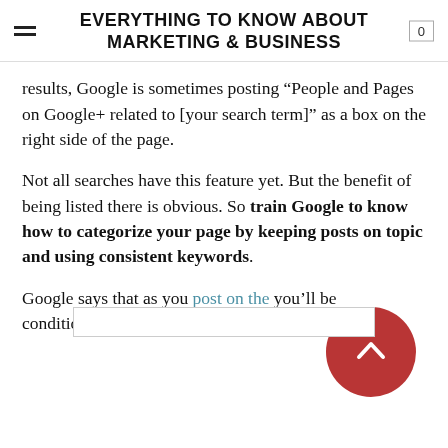EVERYTHING TO KNOW ABOUT MARKETING & BUSINESS
results, Google is sometimes posting “People and Pages on Google+ related to [your search term]” as a box on the right side of the page.
Not all searches have this feature yet. But the benefit of being listed there is obvious. So train Google to know how to categorize your page by keeping posts on topic and using consistent keywords.
Google says that as you post on the… you’ll be conditioning Google to pr… page in that search.